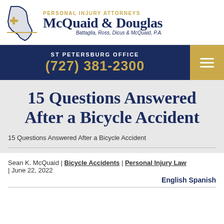[Figure (logo): McQuaid & Douglas Personal Injury Attorneys logo with Florida state map outline and gold cross icon. Text reads: PERSONAL INJURY ATTORNEYS, McQuaid & Douglas, Battaglia, Ross, Dicus & McQuaid, P.A.]
ST PETERSBURG OFFICE (727) 381-2300
15 Questions Answered After a Bicycle Accident
15 Questions Answered After a Bicycle Accident
Sean K. McQuaid | Bicycle Accidents | Personal Injury Law | June 22, 2022
English Spanish